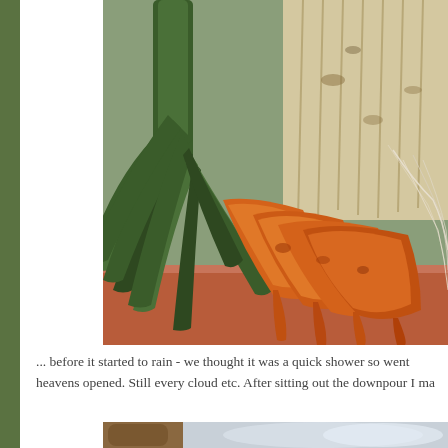[Figure (photo): Close-up photo of fresh garden vegetables including leeks with long dark green leaves and orange carrots with soil, arranged on what appears to be a terracotta surface or wooden slats]
... before it started to rain - we thought it was a quick shower so went heavens opened. Still every cloud etc. After sitting out the downpour I ma
[Figure (photo): Partial photo at bottom showing what appears to be a wooden stick or branch with blurred background in light blue-grey tones]